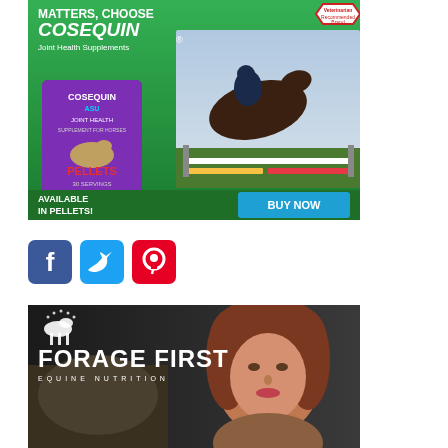[Figure (photo): Cosequin advertisement showing a horse jumping with rider, green background, product image (pellets bag), text: MATTERS, CHOOSE COSEQUIN Joint Health Supplements, AVAILABLE IN PELLETS!, BUY NOW, with Veterinarian Recommended Brand badge]
[Figure (infographic): Row of three social media icons: Facebook (blue), Twitter (light blue), Pinterest (red)]
[Figure (photo): Forage First Equine Nutrition advertisement showing a woman with brown curly hair and a horse, dark background with FORAGE FIRST EQUINE NUTRITION logo in white]